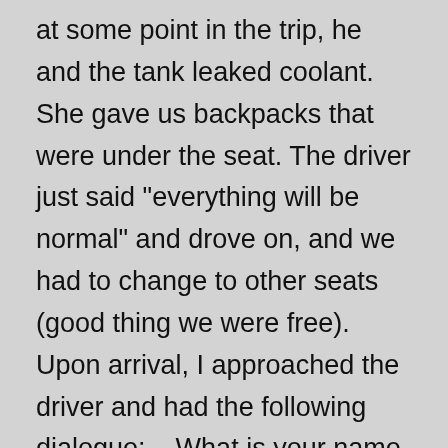at some point in the trip, he and the tank leaked coolant. She gave us backpacks that were under the seat. The driver just said "everything will be normal" and drove on, and we had to change to other seats (good thing we were free). Upon arrival, I approached the driver and had the following dialogue: – What is your name – And what is the difference? – well, how? – Roma – and full name? – Roman (joker) … He never gave his full name. And the fact that the liquid flowed is "iron", it cannot be responsible for iron. In short, such bullish drivers make up the majority of drivers in the Crimea. No one is responsible for anything.